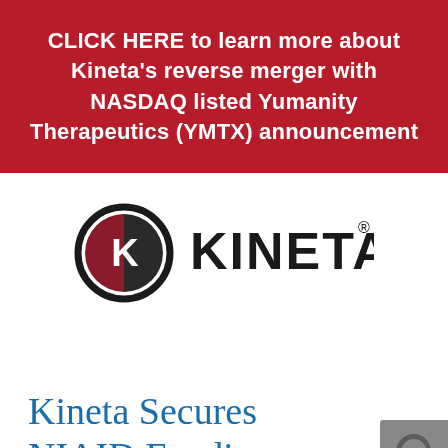CLICK HERE to learn more about Kineta's reverse merger with NASDAQ listed Yumanity Therapeutics (YMTX) announcement
[Figure (logo): Kineta company logo — circular icon with stylized K in red/dark tones, next to bold text KINETA with registered trademark symbol]
Kineta Secures NIAID Funding
[Figure (other): reCAPTCHA badge icon in bottom-right corner]